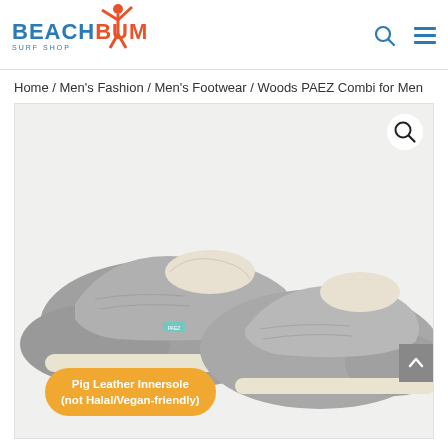BeachBum Surf Shop
Home / Men's Fashion / Men's Footwear / Woods PAEZ Combi for Men
[Figure (photo): Grey canvas slip-on shoes (PAEZ brand, Woods PAEZ Combi for Men) displayed on a light background. A yellow/orange bubble label in the lower left reads 'Pig Leather Innersole (not Halal/Vegan-friendly)'. A magnifying glass icon is visible in the upper right of the image area, and a grey scroll-to-top arrow button is on the right side.]